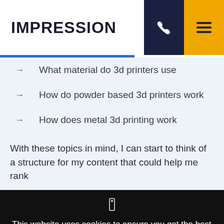IMPRESSION
→  What material do 3d printers use
→  How do powder based 3d printers work
→  How does metal 3d printing work
With these topics in mind, I can start to think of a structure for my content that could help me rank
This website uses cookies to ensure you get the best experience on our website. Read our cookie policy.
Yes, I accept cookies